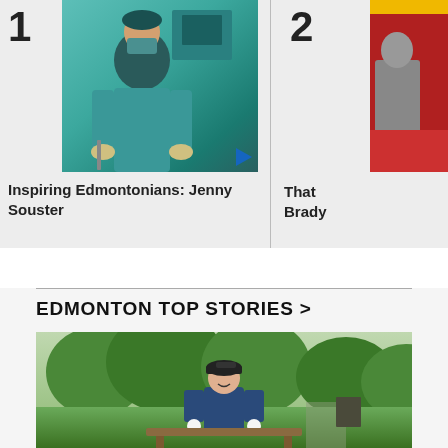1
[Figure (photo): A person in green scrubs and a face mask working in a medical/dental setting]
2
[Figure (photo): Partially visible image of a person at a desk, with a yellow bar at top and red background]
Inspiring Edmontonians: Jenny Souster
That Brady
EDMONTON TOP STORIES >
[Figure (photo): A young woman wearing a navy blue Adidas cap and polo shirt, smiling, holding two golf balls, standing in front of green trees at a golf course]